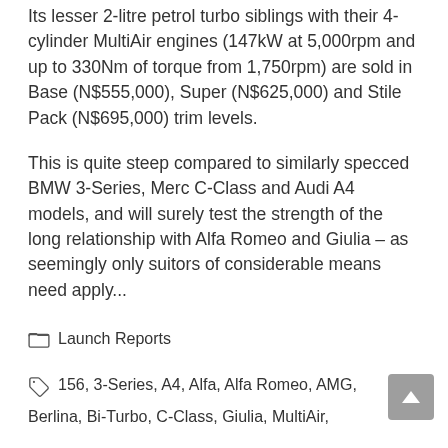Its lesser 2-litre petrol turbo siblings with their 4-cylinder MultiAir engines (147kW at 5,000rpm and up to 330Nm of torque from 1,750rpm) are sold in Base (N$555,000), Super (N$625,000) and Stile Pack (N$695,000) trim levels.
This is quite steep compared to similarly specced BMW 3-Series, Merc C-Class and Audi A4 models, and will surely test the strength of the long relationship with Alfa Romeo and Giulia – as seemingly only suitors of considerable means need apply...
Launch Reports
156, 3-Series, A4, Alfa, Alfa Romeo, AMG, Berlina, Bi-Turbo, C-Class, Giulia, MultiAir,